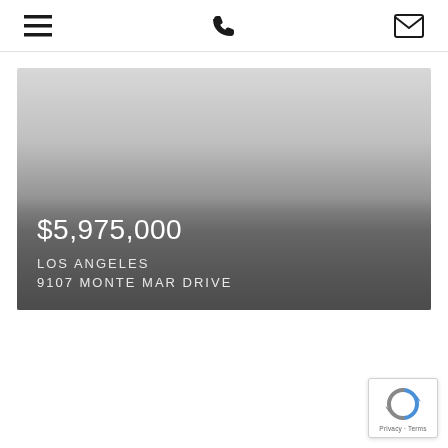≡  📞  ✉
[Figure (photo): Real estate listing photo showing a property with gradient overlay. Price $5,975,000 displayed prominently with property address in Los Angeles, 9107 Monte Mar Drive.]
$5,975,000
LOS ANGELES
9107 MONTE MAR DRIVE
[Figure (other): reCAPTCHA badge with blue and grey circular arrow logo and 'Privacy · Terms' text]